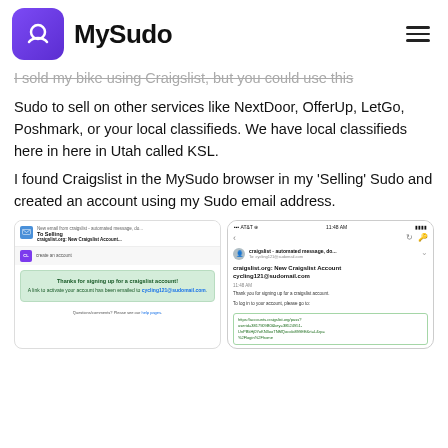MySudo
I sold my bike using Craigslist, but you could use this Sudo to sell on other services like NextDoor, OfferUp, LetGo, Poshmark, or your local classifieds. We have local classifieds here in here in Utah called KSL.
I found Craigslist in the MySudo browser in my 'Selling' Sudo and created an account using my Sudo email address.
[Figure (screenshot): Two mobile screenshots showing Craigslist account creation confirmation email in MySudo. Left: email inbox showing 'To Selling craigslist.org: New Craigslist Account...' with green confirmation box saying 'Thanks for signing up for a craigslist account! A link to activate your account has been emailed to cycling121@sudomail.com'. Right: email detail view showing sender 'craigslist - automated message', subject 'craigslist.org: New Craigslist Account cycling121@sudomail.com', body 'Thank you for signing up for a craigslist account. To log in to your account, please go to:' followed by a green link box with URL.]